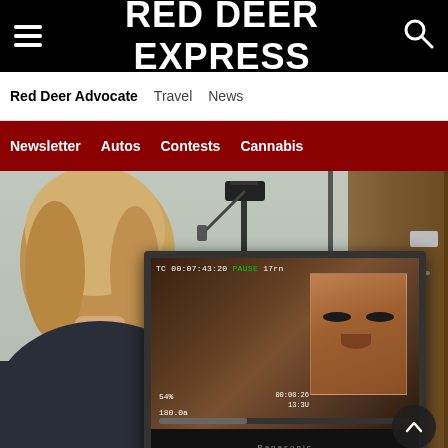RED DEER EXPRESS
Red Deer Advocate  Travel  News
Newsletter  Autos  Contests  Cannabis
[Figure (photo): A person with blonde hair seen from behind, looking at a video monitor displaying a man's face with timecode overlay reading TC 00:07:43:20, with a camera on a stand visible in the background of what appears to be a classroom or studio setting.]